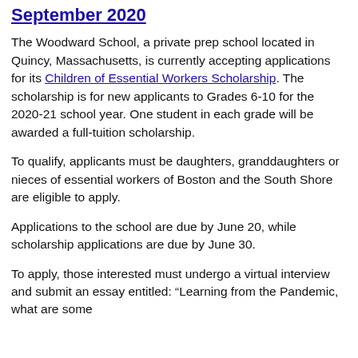September 2020
The Woodward School, a private prep school located in Quincy, Massachusetts, is currently accepting applications for its Children of Essential Workers Scholarship. The scholarship is for new applicants to Grades 6-10 for the 2020-21 school year. One student in each grade will be awarded a full-tuition scholarship.
To qualify, applicants must be daughters, granddaughters or nieces of essential workers of Boston and the South Shore are eligible to apply.
Applications to the school are due by June 20, while scholarship applications are due by June 30.
To apply, those interested must undergo a virtual interview and submit an essay entitled: “Learning from the Pandemic, what are some…